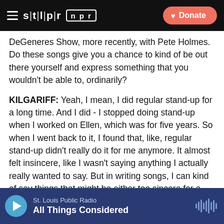stl|pr  npr  Donate
DeGeneres Show, more recently, with Pete Holmes. Do these songs give you a chance to kind of be out there yourself and express something that you wouldn't be able to, ordinarily?
KILGARIFF: Yeah, I mean, I did regular stand-up for a long time. And I did - I stopped doing stand-up when I worked on Ellen, which was for five years. So when I went back to it, I found that, like, regular stand-up didn't really do it for me anymore. It almost felt insincere, like I wasn't saying anything I actually really wanted to say. But in writing songs, I can kind of say things that might be either too sincere for a comedy stage or too direct or something. And I feel like I can kind of get away with it.
St. Louis Public Radio  All Things Considered